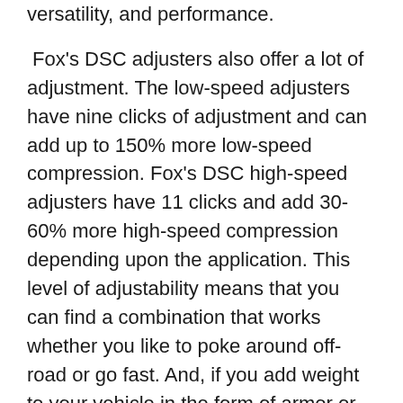versatility, and performance.
Fox's DSC adjusters also offer a lot of adjustment. The low-speed adjusters have nine clicks of adjustment and can add up to 150% more low-speed compression. Fox's DSC high-speed adjusters have 11 clicks and add 30-60% more high-speed compression depending upon the application. This level of adjustability means that you can find a combination that works whether you like to poke around off-road or go fast. And, if you add weight to your vehicle in the form of armor or cargo in the future, you can still dial in the ride.
So are Fox's DSC adjusters worth it? If you are looking for the ultimate in adjustability, versatility, and performance from your suspension, we would say that they absolutely are. Once you get them dialed to your liking, they will make a significant difference in the